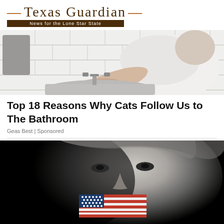— Texas Guardian — News for the Lone Star State
[Figure (photo): Person in white t-shirt leaning over a white bathroom sink with subway tile wall behind]
Top 18 Reasons Why Cats Follow Us to The Bathroom
Geas Best | Sponsored
[Figure (photo): Black and white close-up portrait of a man with an American flag covering his mouth, symbolizing censorship or freedom of speech]